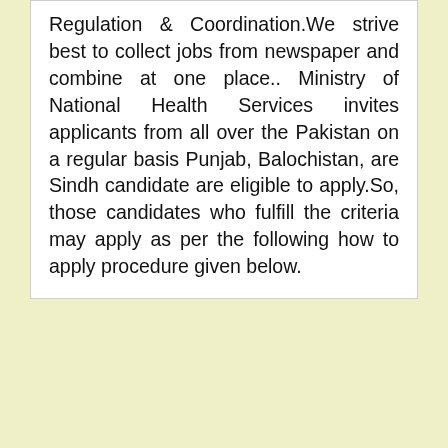Regulation & Coordination.We strive best to collect jobs from newspaper and combine at one place.. Ministry of National Health Services invites applicants from all over the Pakistan on a regular basis Punjab, Balochistan, are Sindh candidate are eligible to apply.So, those candidates who fulfill the criteria may apply as per the following how to apply procedure given below.